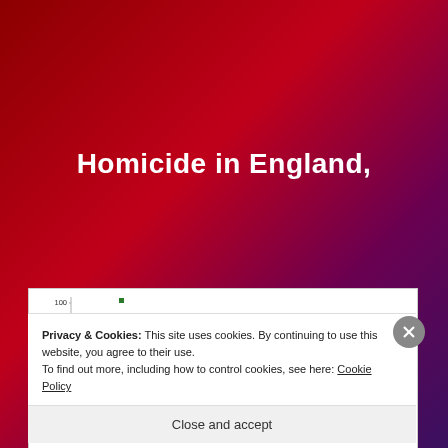Homicide in England,
[Figure (continuous-plot): Log-scale scatter plot and line chart showing homicide rates per 100,000 people per year over time in England. Green dots represent local estimates, a red line shows national data trending downward, and a blue line shows more recent national data. Y-axis is logarithmic with labels 1, 10, 100. Legend labels: 'Local estimates' and 'National data'.]
Privacy & Cookies: This site uses cookies. By continuing to use this website, you agree to their use.
To find out more, including how to control cookies, see here: Cookie Policy
Close and accept